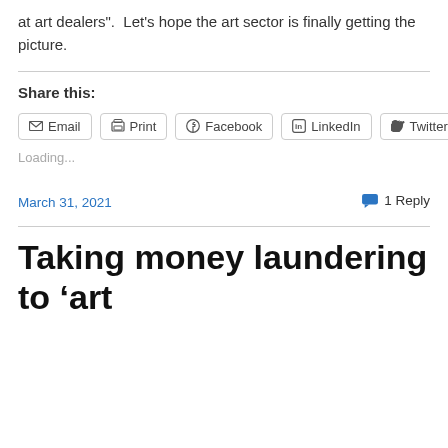at art dealers". Let's hope the art sector is finally getting the picture.
Share this:
[Figure (other): Share buttons: Email, Print, Facebook, LinkedIn, Twitter]
Loading...
March 31, 2021
1 Reply
Taking money laundering to 'art